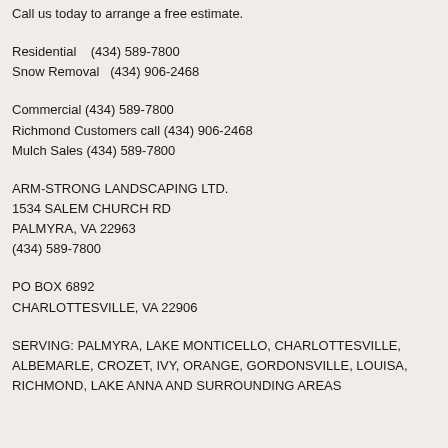Call us today to arrange a free estimate.
Residential   (434) 589-7800
Snow Removal   (434) 906-2468
Commercial (434) 589-7800
Richmond Customers call (434) 906-2468
Mulch Sales (434) 589-7800
ARM-STRONG LANDSCAPING LTD.
1534 SALEM CHURCH RD
PALMYRA, VA 22963
(434) 589-7800
PO BOX 6892
CHARLOTTESVILLE, VA 22906
SERVING: PALMYRA, LAKE MONTICELLO, CHARLOTTESVILLE, ALBEMARLE, CROZET, IVY, ORANGE, GORDONSVILLE, LOUISA, RICHMOND, LAKE ANNA AND SURROUNDING AREAS